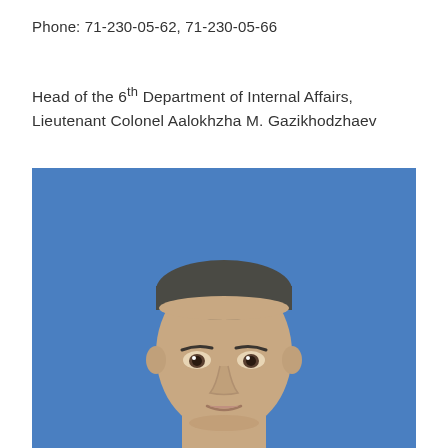Phone: 71-230-05-62, 71-230-05-66
Head of the 6th Department of Internal Affairs, Lieutenant Colonel Aalokhzha M. Gazikhodzhaev
[Figure (photo): Official portrait photo of Lieutenant Colonel Aalokhzha M. Gazikhodzhaev against a blue background, showing head and upper shoulders.]